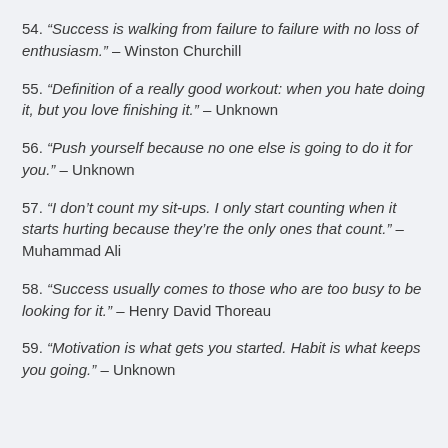54. “Success is walking from failure to failure with no loss of enthusiasm.” – Winston Churchill
55. “Definition of a really good workout: when you hate doing it, but you love finishing it.” – Unknown
56. “Push yourself because no one else is going to do it for you.” – Unknown
57. “I don’t count my sit-ups. I only start counting when it starts hurting because they’re the only ones that count.” – Muhammad Ali
58. “Success usually comes to those who are too busy to be looking for it.” – Henry David Thoreau
59. “Motivation is what gets you started. Habit is what keeps you going.” – Unknown